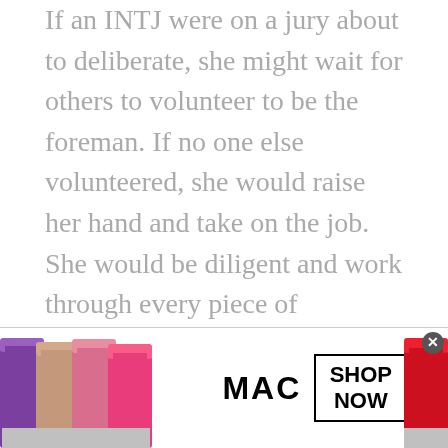If an INTJ were on a jury about to deliberate, she might wait for others to volunteer to be the foreman. If no one else volunteered, she would raise her hand and take on the job. She would be diligent and work through every piece of evidence, listening to everyone's opinion.

An ENTJ, on the other hand, would charismatically offer to be the
[Figure (photo): MAC Cosmetics advertisement banner showing colorful lipsticks (purple, nude, pink, hot pink) on the left, MAC logo in center, a 'SHOP NOW' button in a black border box on the right, and a red lipstick partially visible on the far right. A close/dismiss button (X) appears in the top right corner of the ad.]